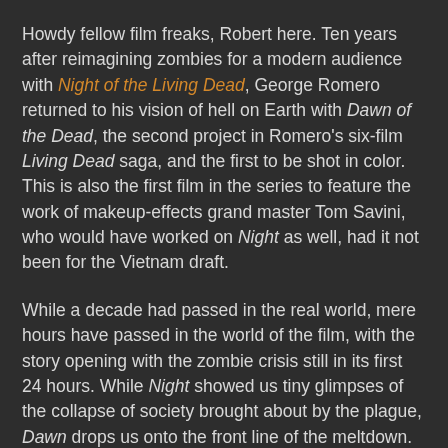Howdy fellow film freaks, Robert here. Ten years after reimagining zombies for a modern audience with Night of the Living Dead, George Romero returned to his vision of hell on Earth with Dawn of the Dead, the second project in Romero's six-film Living Dead saga, and the first to be shot in color. This is also the first film in the series to feature the work of makeup-effects grand master Tom Savini, who would have worked on Night as well, had it not been for the Vietnam draft.
While a decade had passed in the real world, mere hours have passed in the world of the film, with the story opening with the zombie crisis still in its first 24 hours. While Night showed us tiny glimpses of the collapse of society brought about by the plague, Dawn drops us onto the front line of the meltdown. We begin in a TV station in Philadelphia, which is still trying to bring information and assistance to viewers, even as the world crumbles around it. It isn't going well. Inside, the TV studio is complete chaos, in the middle of which a scientist is attempting to disseminate for viewers what little is known about the zombies, and the radical steps